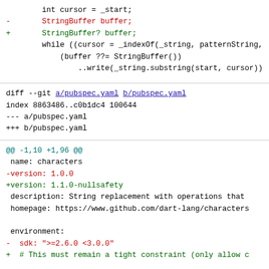int cursor = _start;
- StringBuffer buffer;
+ StringBuffer? buffer;
  while ((cursor = _indexOf(_string, patternString,
      (buffer ??= StringBuffer())
          ..write(_string.substring(start, cursor))
diff --git a/pubspec.yaml b/pubspec.yaml
index 8863486..c0b1dc4 100644
--- a/pubspec.yaml
+++ b/pubspec.yaml
@@ -1,10 +1,96 @@
 name: characters
-version: 1.0.0
+version: 1.1.0-nullsafety
 description: String replacement with operations that
 homepage: https://www.github.com/dart-lang/characters

 environment:
-  sdk: ">=2.6.0 <3.0.0"
+  # This must remain a tight constraint (only allow c